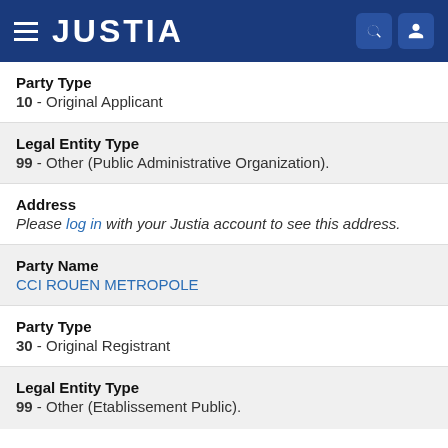JUSTIA
Party Type
10 - Original Applicant
Legal Entity Type
99 - Other (Public Administrative Organization).
Address
Please log in with your Justia account to see this address.
Party Name
CCI ROUEN METROPOLE
Party Type
30 - Original Registrant
Legal Entity Type
99 - Other (Etablissement Public).